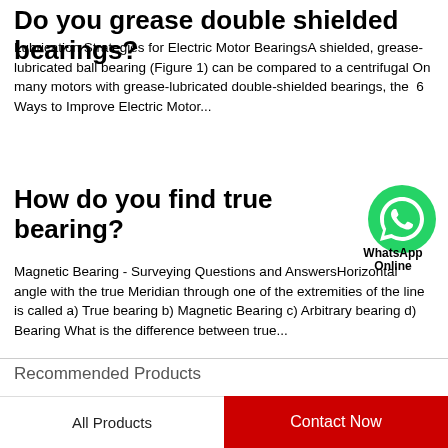Do you grease double shielded bearings?
Lubrication Strategies for Electric Motor BearingsA shielded, grease-lubricated ball bearing (Figure 1) can be compared to a centrifugal On many motors with grease-lubricated double-shielded bearings, the  6 Ways to Improve Electric Motor...
How do you find true bearing?
[Figure (logo): WhatsApp green phone icon with WhatsApp label and 'Online' text]
Magnetic Bearing - Surveying Questions and AnswersHorizontal angle with the true Meridian through one of the extremities of the line is called a) True bearing b) Magnetic Bearing c) Arbitrary bearing d) Bearing What is the difference between true...
Recommended Products
All Products
Contact Now